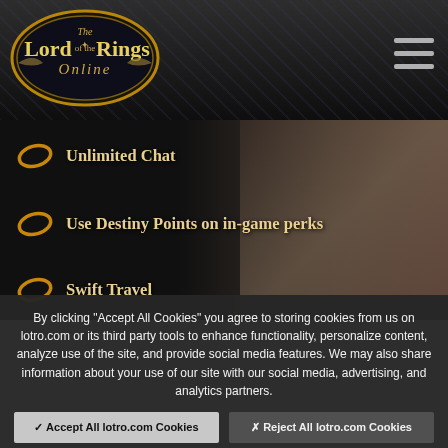[Figure (screenshot): Lord of the Rings Online website header with logo and hamburger menu on dark ornamental background]
Unlimited Chat
Use Destiny Points on in-game perks
Swift Travel
By clicking "Accept All Cookies" you agree to storing cookies from us on lotro.com or its third party tools to enhance functionality, personalize content, analyze use of the site, and provide social media features. We may also share information about your use of our site with our social media, advertising, and analytics partners.
✓ Accept All lotro.com Cookies
✗ Reject All lotro.com Cookies
Personalize lotro.com Cookies
Cookie Policy